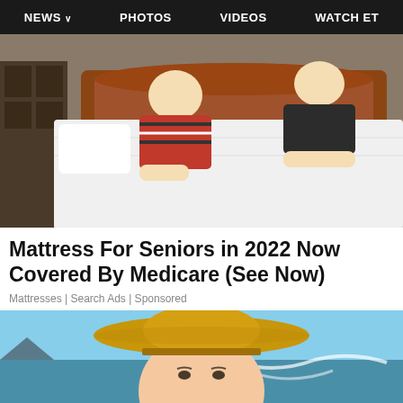NEWS  PHOTOS  VIDEOS  WATCH ET
[Figure (photo): Two people making a bed with a white mattress and wooden headboard in a bedroom]
Mattress For Seniors in 2022 Now Covered By Medicare (See Now)
Mattresses | Search Ads | Sponsored
[Figure (photo): Woman wearing a wide-brimmed straw hat at the beach with ocean waves in the background]